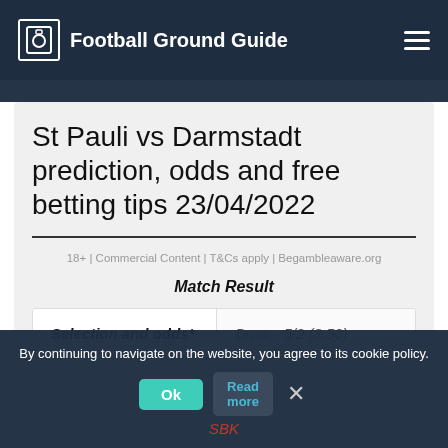Football Ground Guide
St Pauli vs Darmstadt prediction, odds and free betting tips 23/04/2022
18+ | Commercial Content | T&Cs apply | Begambleaware.org
Match Result
| Selection and odds* |  |
| --- | --- |
| Selection and odds* | Draw - 5/2 (3.50) |
By continuing to navigate on the website, you agree to its cookie policy.